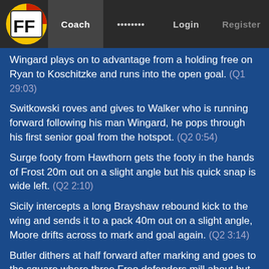FF  Coach  ........  Login  Register
Wingard plays on to advantage from a holding free on Ryan to Koschitzke and runs into the open goal. (Q1 29:03)
Switkowski roves and gives to Walker who is running forward following his man Wingard, he pops through his first senior goal from the hotspot. (Q2 0:54)
Surge footy from Hawthorn gets the footy in the hands of Frost 20m out on a slight angle but his quick snap is wide left. (Q2 2:10)
Sicily intercepts a long Brayshaw rebound kick to the wing and sends it to a pack 40m out on a slight angle, Moore drifts across to mark and goal again. (Q2 3:14)
Butler dithers at half forward after marking and goes to the square where three Freo defenders mill about but Walker is pinged for